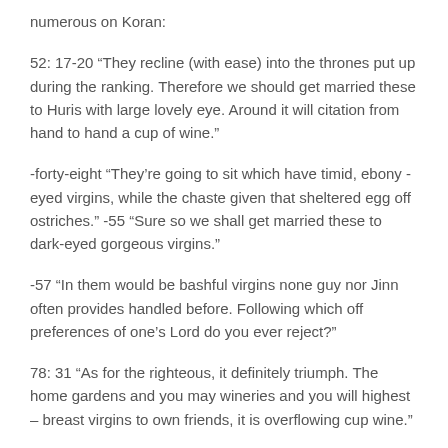numerous on Koran:
52: 17-20 “They recline (with ease) into the thrones put up during the ranking. Therefore we should get married these to Huris with large lovely eye. Around it will citation from hand to hand a cup of wine.”
-forty-eight “They’re going to sit which have timid, ebony -eyed virgins, while the chaste given that sheltered egg off ostriches.” -55 “Sure so we shall get married these to dark-eyed gorgeous virgins.”
-57 “In them would be bashful virgins none guy nor Jinn often provides handled before. Following which off preferences of one’s Lord do you ever reject?”
78: 31 “As for the righteous, it definitely triumph. The home gardens and you may wineries and you will highest – breast virgins to own friends, it is overflowing cup wine.”